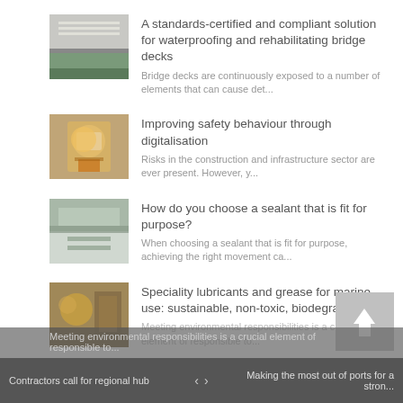[Figure (photo): Photo thumbnail of bridge deck waterproofing]
A standards-certified and compliant solution for waterproofing and rehabilitating bridge decks
Bridge decks are continuously exposed to a number of elements that can cause det...
[Figure (photo): Photo thumbnail of worker using digital device on construction site]
Improving safety behaviour through digitalisation
Risks in the construction and infrastructure sector are ever present. However, y...
[Figure (photo): Photo thumbnail related to sealant application]
How do you choose a sealant that is fit for purpose?
When choosing a sealant that is fit for purpose, achieving the right movement ca...
[Figure (photo): Photo thumbnail of marine lubricants application]
Speciality lubricants and grease for marine use: sustainable, non-toxic, biodegradable
Meeting environmental responsibilities is a crucial element of responsible to...
Contractors call for regional hub   <   >   Making the most out of ports for a stron...